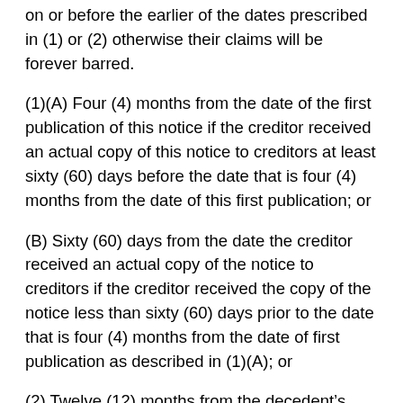on or before the earlier of the dates prescribed in (1) or (2) otherwise their claims will be forever barred.
(1)(A) Four (4) months from the date of the first publication of this notice if the creditor received an actual copy of this notice to creditors at least sixty (60) days before the date that is four (4) months from the date of this first publication; or
(B) Sixty (60) days from the date the creditor received an actual copy of the notice to creditors if the creditor received the copy of the notice less than sixty (60) days prior to the date that is four (4) months from the date of first publication as described in (1)(A); or
(2) Twelve (12) months from the decedent’s date of death.